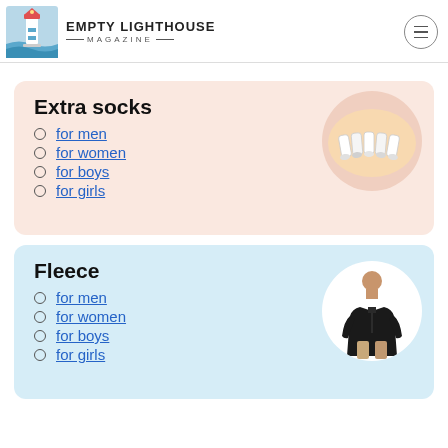EMPTY LIGHTHOUSE MAGAZINE
Extra socks
for men
for women
for boys
for girls
[Figure (photo): Bundle of white ankle socks]
Fleece
for men
for women
for boys
for girls
[Figure (photo): Man wearing black fleece jacket]